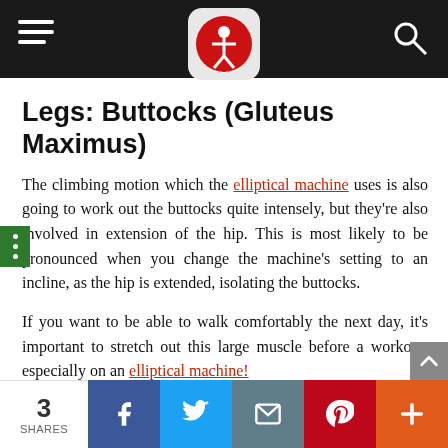Real Fitness World – navigation bar with logo and search
Legs: Buttocks (Gluteus Maximus)
The climbing motion which the elliptical machine uses is also going to work out the buttocks quite intensely, but they're also involved in extension of the hip. This is most likely to be pronounced when you change the machine's setting to an incline, as the hip is extended, isolating the buttocks.
If you want to be able to walk comfortably the next day, it's important to stretch out this large muscle before a workout, especially on an elliptical machine!
Upper Body: Chest And Triceps
3 SHARES | Facebook | Twitter | Email | Pinterest | More